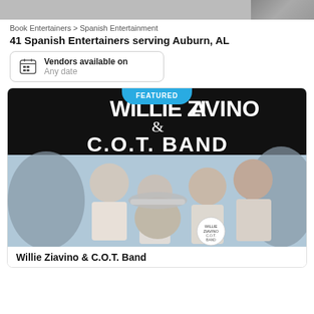[Figure (photo): Partial header photo strip at top of page]
Book Entertainers > Spanish Entertainment
41 Spanish Entertainers serving Auburn, AL
Vendors available on
Any date
[Figure (photo): Featured listing image for Willie Ziavino & C.O.T. Band showing five men in white shirts against a light blue sky background, with the band name displayed in large text on a black banner above. A 'FEATURED' badge appears at the top center.]
Willie Ziavino & C.O.T. Band